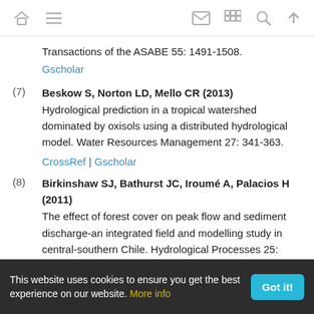[navigation bar with home, menu, email, grid, search, up icons]
Transactions of the ASABE 55: 1491-1508.
Gscholar
(7) Beskow S, Norton LD, Mello CR (2013) Hydrological prediction in a tropical watershed dominated by oxisols using a distributed hydrological model. Water Resources Management 27: 341-363.
CrossRef | Gscholar
(8) Birkinshaw SJ, Bathurst JC, Iroumé A, Palacios H (2011) The effect of forest cover on peak flow and sediment discharge-an integrated field and modelling study in central-southern Chile. Hydrological Processes 25: 1284-1297.
This website uses cookies to ensure you get the best experience on our website. More info  Got it!